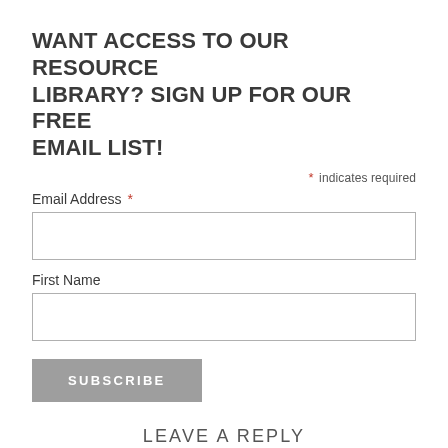WANT ACCESS TO OUR RESOURCE LIBRARY? SIGN UP FOR OUR FREE EMAIL LIST!
* indicates required
Email Address *
First Name
SUBSCRIBE
LEAVE A REPLY
Your email address will not be published. Required fields are marked *